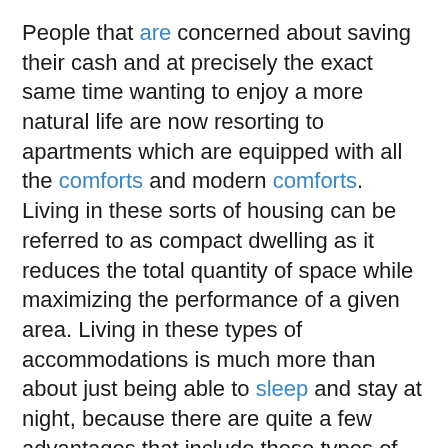People that are concerned about saving their cash and at precisely the exact same time wanting to enjoy a more natural life are now resorting to apartments which are equipped with all the comforts and modern comforts. Living in these sorts of housing can be referred to as compact dwelling as it reduces the total quantity of space while maximizing the performance of a given area. Living in these types of accommodations is much more than about just being able to sleep and stay at night, because there are quite a few advantages that include these types of accommodations.
First of all, people who opt to have apartments which are equipped with those attributes have the ability to maximize the